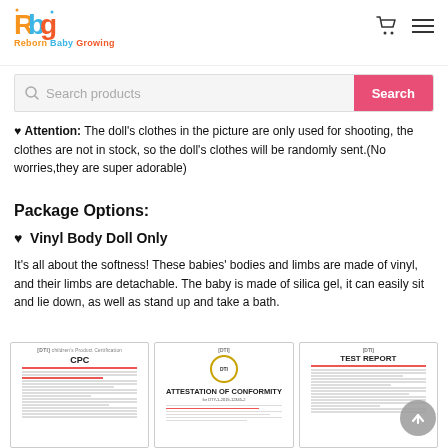Reborn Baby Growing — logo header with cart and menu icons
Search products
♥ Attention: The doll's clothes in the picture are only used for shooting, the clothes are not in stock, so the doll's clothes will be randomly sent.(No worries,they are super adorable)
Package Options:
♥ Vinyl Body Doll Only
It's all about the softness! These babies' bodies and limbs are made of vinyl, and their limbs are detachable. The baby is made of silica gel, it can easily sit and lie down, as well as stand up and take a bath.
[Figure (photo): Three certification documents: CPC Children's Product Certification, DTI Attestation of Conformity, and DTI Test Report]
[Figure (other): Back to top arrow button]